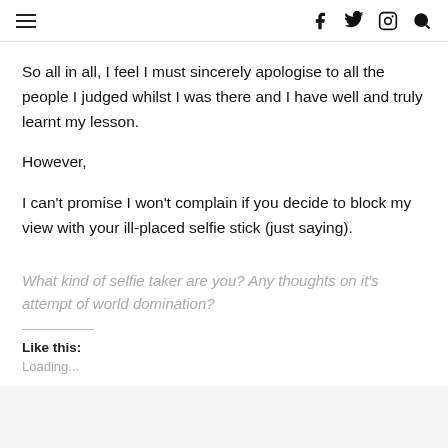[hamburger menu] [facebook] [twitter] [instagram] [search]
So all in all, I feel I must sincerely apologise to all the people I judged whilst I was there and I have well and truly learnt my lesson.
However,
I can't promise I won't complain if you decide to block my view with your ill-placed selfie stick (just saying).
What kind of selfie taker are you? Any thoughts on it's attempt of world domination?
Like this:
Loading...